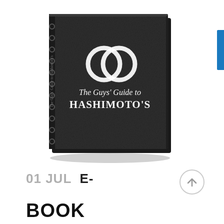[Figure (illustration): Book cover for 'The Guys' Guide to Hashimoto's' — a dark leather-textured spiral-bound book with two interlinked rings logo and white title text on a dark background, shown at a slight 3D angle.]
01 JUL E-
BOOK